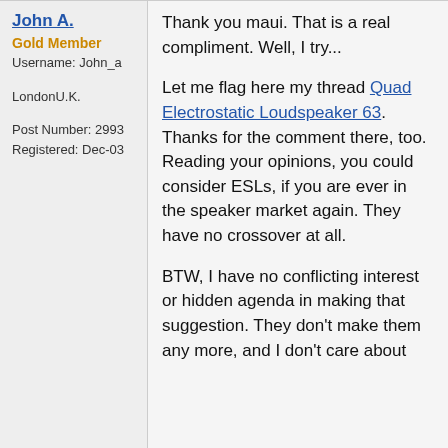John A.
Gold Member
Username: John_a
LondonU.K.
Post Number: 2993
Registered: Dec-03
Thank you maui. That is a real compliment. Well, I try...

Let me flag here my thread Quad Electrostatic Loudspeaker 63. Thanks for the comment there, too. Reading your opinions, you could consider ESLs, if you are ever in the speaker market again. They have no crossover at all.

BTW, I have no conflicting interest or hidden agenda in making that suggestion. They don't make them any more, and I don't care about